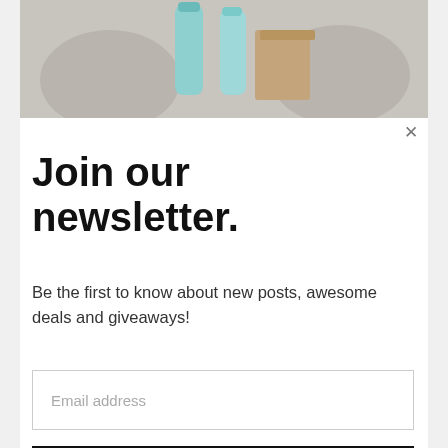[Figure (photo): Cropped photo of hands holding teal/mint colored bottles and a brown kraft-paper box, visible at top of modal]
Join our newsletter.
Be the first to know about new posts, awesome deals and giveaways!
Email address
Subscribe
Search for
1.  WHOLESALE ELECTRONICS
2.  DOWNLOAD MOVIES ONLINE